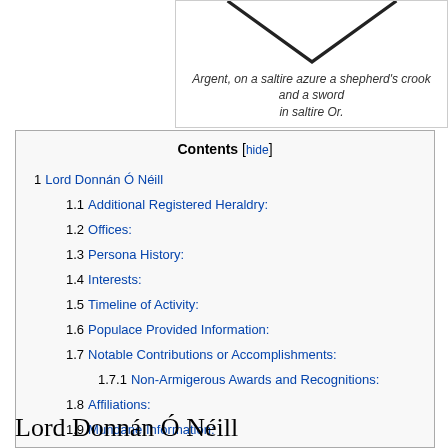Argent, on a saltire azure a shepherd's crook and a sword in saltire Or.
[Figure (illustration): Heraldic shield showing a V/chevron shape in dark lines on white background, partially visible]
| 1 | Lord Donnán Ó Néill |
| 1.1 | Additional Registered Heraldry: |
| 1.2 | Offices: |
| 1.3 | Persona History: |
| 1.4 | Interests: |
| 1.5 | Timeline of Activity: |
| 1.6 | Populace Provided Information: |
| 1.7 | Notable Contributions or Accomplishments: |
| 1.7.1 | Non-Armigerous Awards and Recognitions: |
| 1.8 | Affiliations: |
| 1.9 | Mundane Information: |
| 1.9.1 | Special Needs: |
| 1.9.2 | In case of Court: |
Lord Donnán Ó Néill